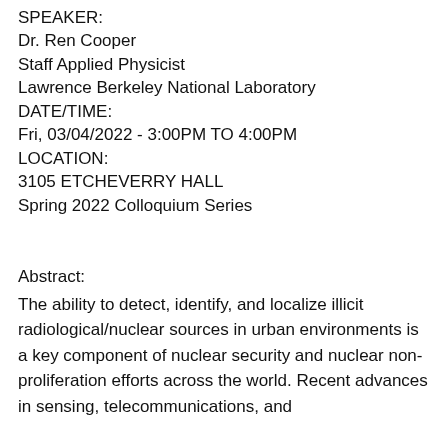SPEAKER:
Dr. Ren Cooper
Staff Applied Physicist
Lawrence Berkeley National Laboratory
DATE/TIME:
Fri, 03/04/2022 - 3:00PM TO 4:00PM
LOCATION:
3105 ETCHEVERRY HALL
Spring 2022 Colloquium Series
Abstract:
The ability to detect, identify, and localize illicit radiological/nuclear sources in urban environments is a key component of nuclear security and nuclear non-proliferation efforts across the world. Recent advances in sensing, telecommunications, and